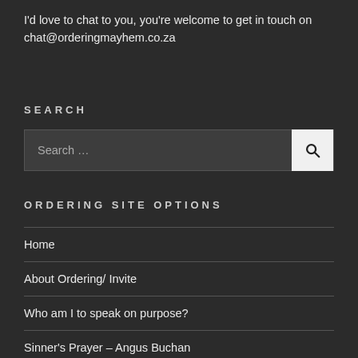I'd love to chat to you, you're welcome to get in touch on chat@orderingmayhem.co.za
SEARCH
[Figure (screenshot): Search input box with 'Search …' placeholder text and a search button with magnifying glass icon]
ORDERING SITE OPTIONS
Home
About Ordering/ Invite
Who am I to speak on purpose?
Sinner's Prayer – Angus Buchan